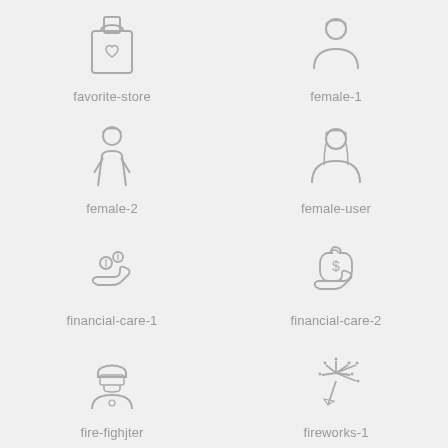[Figure (illustration): favorite-store icon: a shopping bag with a heart on it]
favorite-store
[Figure (illustration): female-1 icon: a woman bust silhouette with head and shoulders]
female-1
[Figure (illustration): female-2 icon: a standing woman outline silhouette]
female-2
[Figure (illustration): female-user icon: a woman user silhouette, slightly larger]
female-user
[Figure (illustration): financial-care-1 icon: hand holding coins]
financial-care-1
[Figure (illustration): financial-care-2 icon: hand holding a money bag with dollar sign]
financial-care-2
[Figure (illustration): fire-fighter icon: a firefighter person bust with helmet]
fire-fighjter
[Figure (illustration): fireworks-1 icon: fireworks burst with sparkles and a rocket]
fireworks-1